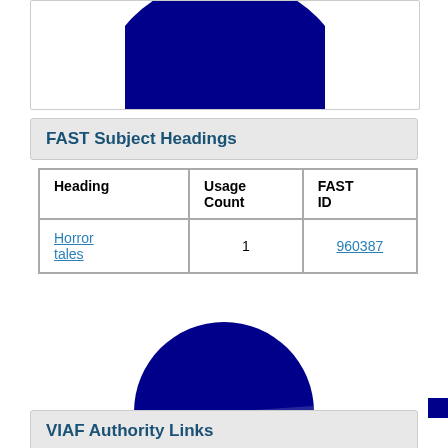[Figure (pie-chart): Partial pie chart cropped at top of page, dark navy blue circle mostly shown]
FAST Subject Headings
| Heading | Usage Count | FAST ID |
| --- | --- | --- |
| Horror tales | 1 | 960387 |
[Figure (pie-chart): Nearly complete dark navy blue pie chart with a thin light lavender line indicating a very small slice near 3 o'clock position]
VIAF Authority Links